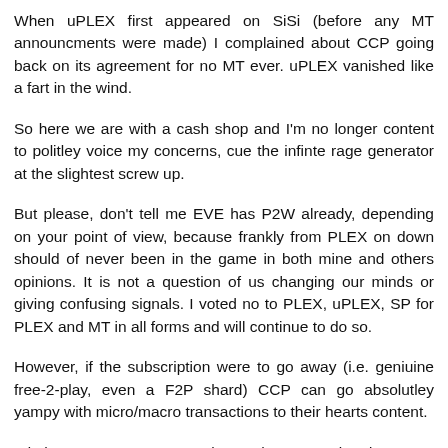When uPLEX first appeared on SiSi (before any MT announcments were made) I complained about CCP going back on its agreement for no MT ever. uPLEX vanished like a fart in the wind.
So here we are with a cash shop and I'm no longer content to politley voice my concerns, cue the infinte rage generator at the slightest screw up.
But please, don't tell me EVE has P2W already, depending on your point of view, because frankly from PLEX on down should of never been in the game in both mine and others opinions. It is not a question of us changing our minds or giving confusing signals. I voted no to PLEX, uPLEX, SP for PLEX and MT in all forms and will continue to do so.
However, if the subscription were to go away (i.e. geniuine free-2-play, even a F2P shard) CCP can go absolutley yampy with micro/macro transactions to their hearts content.
I do hope you, or someone else on the CSM pointed out that their $70 cosmetic deals are thin...